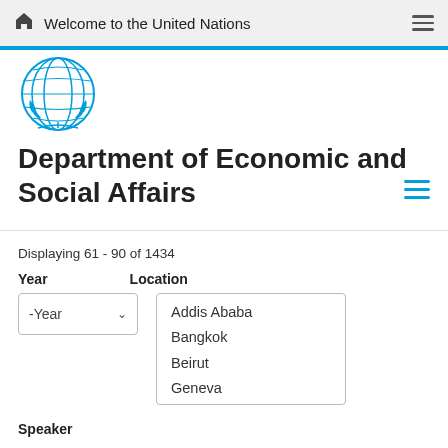Welcome to the United Nations
[Figure (logo): United Nations emblem/logo in blue]
Department of Economic and Social Affairs
Displaying 61 - 90 of 1434
Year
Location
-Year (dropdown)
Addis Ababa
Bangkok
Beirut
Geneva
New York
Vienna (partially visible)
Speaker